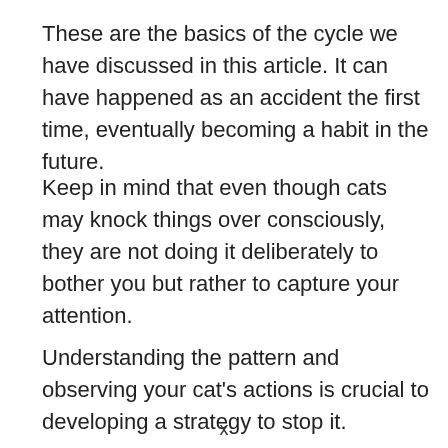These are the basics of the cycle we have discussed in this article. It can have happened as an accident the first time, eventually becoming a habit in the future.
Keep in mind that even though cats may knock things over consciously, they are not doing it deliberately to bother you but rather to capture your attention.
Understanding the pattern and observing your cat's actions is crucial to developing a strategy to stop it.
x